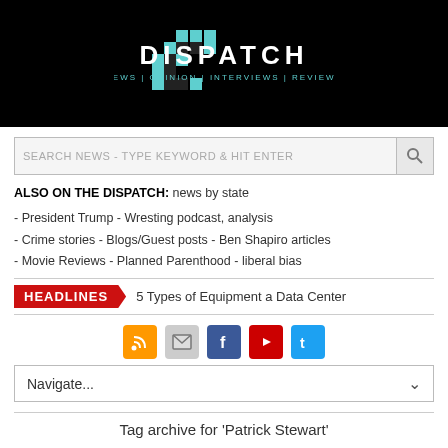[Figure (logo): Dispatch news website logo — black background with teal pixel D icon, large white DISPATCH text, teal tagline NEWS | OPINION | INTERVIEWS | REVIEWS]
SEARCH NEWS - TYPE KEYWORD & HIT ENTER
ALSO ON THE DISPATCH: news by state
- President Trump - Wresting podcast, analysis
- Crime stories - Blogs/Guest posts - Ben Shapiro articles
- Movie Reviews - Planned Parenthood - liberal bias
HEADLINES  5 Types of Equipment a Data Center
[Figure (other): Social media icons row: RSS (orange), Email (grey), Facebook (blue), YouTube (red), Twitter (light blue)]
Navigate...
Tag archive for 'Patrick Stewart'